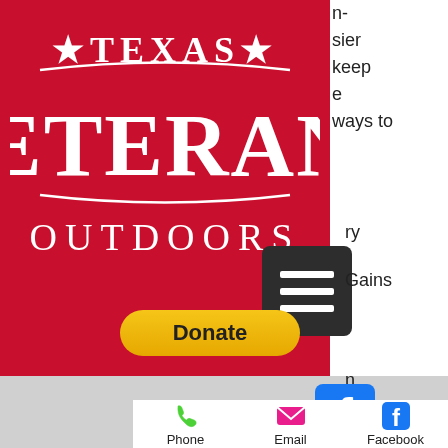[Figure (logo): Texas Veterans Outdoors logo — white serif text on red background with decorative stars and curved lines]
[Figure (other): PayPal Donate button with yellow/gold pill shape]
[Figure (other): Dark gray hamburger menu button with three white horizontal bars]
n-
sier
keep
e
ways to
ry
Gains
n
[Figure (logo): Facebook logo icon (blue F on white) in gray strip area]
[Figure (other): Mobile bottom navigation bar with Phone (green), Email (pink), Facebook (blue) icons and labels]